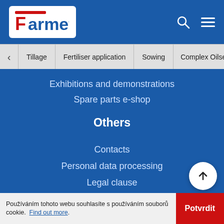[Figure (logo): Farmet company logo — white rounded rectangle with red and blue Farmet text]
Tillage
Fertiliser application
Sowing
Complex Oilseed
Exhibitions and demonstrations
Spare parts e-shop
Others
Contacts
Personal data processing
Legal clause
Sitemap
Logo
Používáním tohoto webu souhlasíte s používáním souborů cookie. Find out more.
Potvrdit